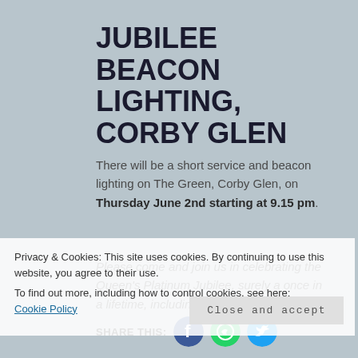JUBILEE BEACON LIGHTING, CORBY GLEN
There will be a short service and beacon lighting on The Green, Corby Glen, on Thursday June 2nd starting at 9.15 pm.
Please come and join us in celebrating the Queen's Platinum Jubilee, surely a once in a lifetime, including...
Privacy & Cookies: This site uses cookies. By continuing to use this website, you agree to their use. To find out more, including how to control cookies, see here: Cookie Policy
Close and accept
SHARE THIS: